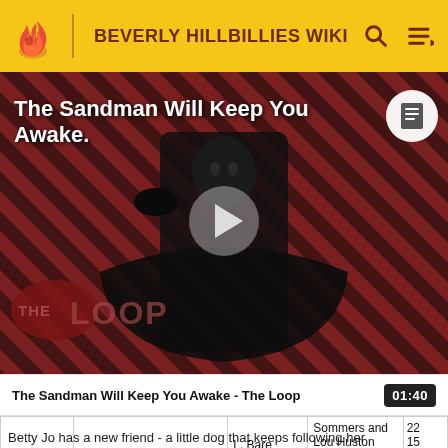BEVERLY HILLBILLIES WIKI
[Figure (screenshot): Video thumbnail for 'The Sandman Will Keep You Awake - The Loop' showing a dark-costumed figure against a striped red and dark background, with THE LOOP watermark and a play button overlay]
The Sandman Will Keep You Awake - The Loop
|  |  | L. Bare | Sommers and Lou Huston |  |
| --- | --- | --- | --- | --- |
|  |  | L. Bare | Sommers and Lou Huston | 22
15
0 |
Betty Jo has a new friend - a little dog that keeps following her